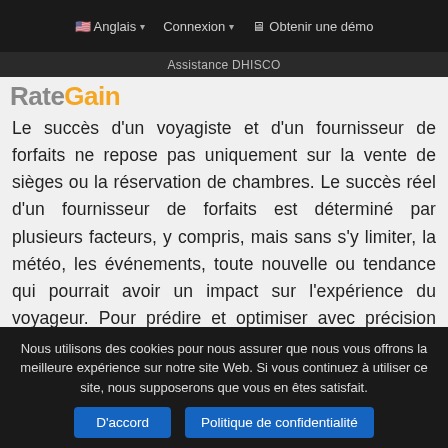🇺🇸 Anglais ▾   Connexion ▾   🖥 Obtenir une démo
Assistance DHISCO
[Figure (logo): RateGain logo with grey 'Rate' and orange 'Gain' text]
Le succès d'un voyagiste et d'un fournisseur de forfaits ne repose pas uniquement sur la vente de sièges ou la réservation de chambres. Le succès réel d'un fournisseur de forfaits est déterminé par plusieurs facteurs, y compris, mais sans s'y limiter, la météo, les événements, toute nouvelle ou tendance qui pourrait avoir un impact sur l'expérience du voyageur. Pour prédire et optimiser avec précision votre fonction de
Nous utilisons des cookies pour nous assurer que nous vous offrons la meilleure expérience sur notre site Web. Si vous continuez à utiliser ce site, nous supposerons que vous en êtes satisfait.
D'accord   Politique de confidentialité